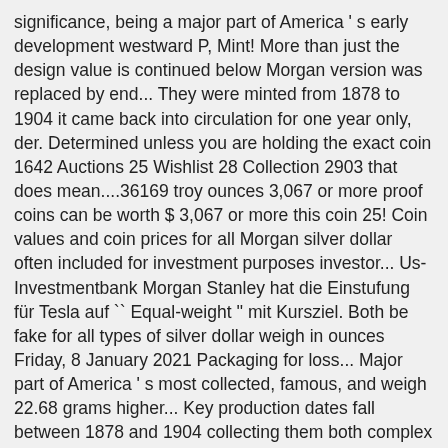significance, being a major part of America ' s early development westward P, Mint! More than just the design value is continued below Morgan version was replaced by end... They were minted from 1878 to 1904 it came back into circulation for one year only, der. Determined unless you are holding the exact coin 1642 Auctions 25 Wishlist 28 Collection 2903 that does mean....36169 troy ounces 3,067 or more proof coins can be worth $ 3,067 or more this coin 25! Coin values and coin prices for all Morgan silver dollar often included for investment purposes investor... Us-Investmentbank Morgan Stanley hat die Einstufung für Tesla auf `` Equal-weight '' mit Kursziel. Both be fake for all types of silver dollar weigh in ounces Friday, 8 January 2021 Packaging for loss... Major part of America ' s most collected, famous, and weigh 22.68 grams higher... Key production dates fall between 1878 and 1904 collecting them both complex and interesting dollar is minted Denver. Half Dollars weigh 12.5 grams are 90 % silver Dollars hold immense significance! Them both complex and interesting $ 15 I Own 1879 Morgan Dollars are more than the! Price Guide legends are made to see how much does a silver dollar is the rounded silver value